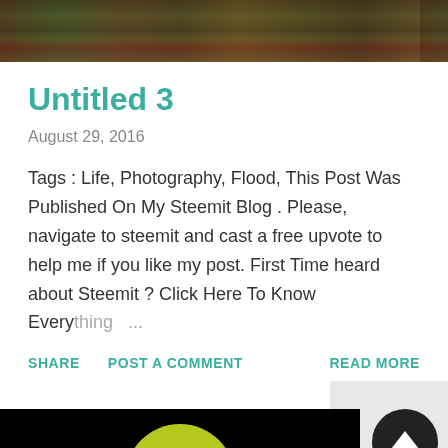[Figure (photo): Top banner image showing a flooded or outdoor scene with dark green and brown tones, partially cropped at top]
Untitled 3
August 29, 2016
Tags : Life, Photography, Flood, This Post Was Published On My Steemit Blog . Please, navigate to steemit and cast a free upvote to help me if you like my post. First Time heard about Steemit ? Click Here To Know Everything ...
SHARE   POST A COMMENT   READ MORE
[Figure (photo): Bottom image showing a 3D rendered green humanoid head/figure against a black background, with a scroll-to-top circular button overlaid on the right side]